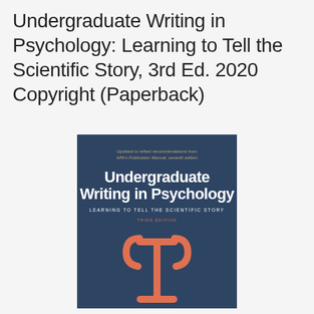Undergraduate Writing in Psychology: Learning to Tell the Scientific Story, 3rd Ed. 2020 Copyright (Paperback)
[Figure (illustration): Book cover of 'Undergraduate Writing in Psychology: Learning to Tell the Scientific Story, Third Edition'. Dark navy/slate blue background. Top text in gold: 'Updated to reflect recommendations from APA's Publication Manual, seventh edition'. Large white bold title text: 'Undergraduate Writing in Psychology'. Below that in white uppercase small text: 'LEARNING TO TELL THE SCIENTIFIC STORY'. Below in orange-red small caps: 'THIRD EDITION'. Below that, a large orange-red psi symbol (Ψ).]